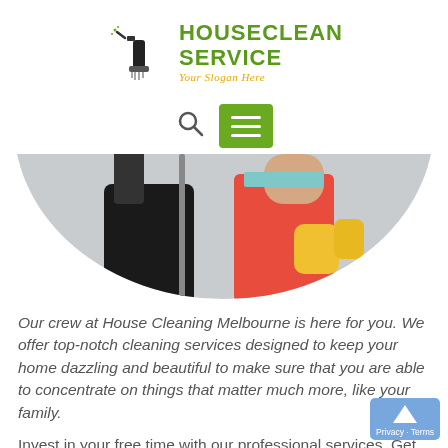[Figure (logo): HouseClean Service logo with spray bottle and cleaning tools icon, green bold text HOUSECLEAN SERVICE, orange italic slogan 'Your Slogan Here']
[Figure (screenshot): Navigation bar with a search icon (magnifying glass) and a green hamburger menu button]
[Figure (photo): Circular/oval cropped hero image showing two people: one in dark pants with a mop (left), one woman in red apron and yellow gloves (right), on light background]
Our crew at House Cleaning Melbourne is here for you. We offer top-notch cleaning services designed to keep your home dazzling and beautiful to make sure that you are able to concentrate on things that matter much more, like your family.
Invest in your free time with our professional services. Get in touch with our experts to...